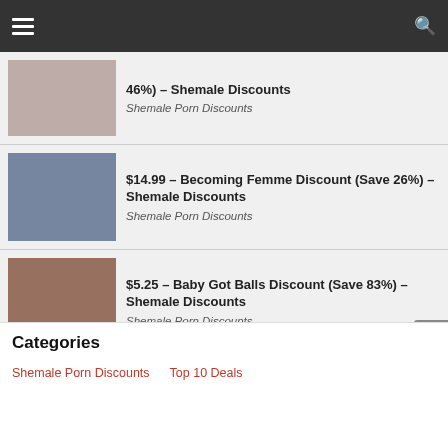Navigation bar with hamburger menu and search icon
46%) – Shemale Discounts
Shemale Porn Discounts
$14.99 – Becoming Femme Discount (Save 26%) – Shemale Discounts
Shemale Porn Discounts
$5.25 – Baby Got Balls Discount (Save 83%) – Shemale Discounts
Shemale Porn Discounts
Categories
Shemale Porn Discounts
Top 10 Deals